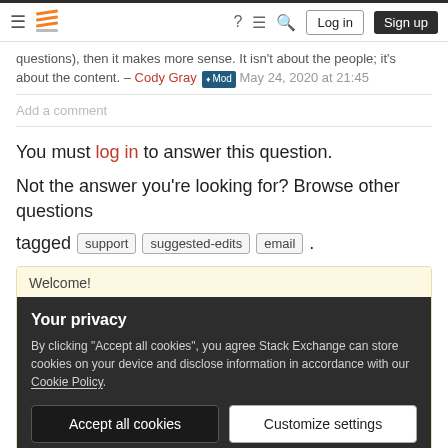Stack Exchange navigation bar with Log in and Sign up buttons
questions), then it makes more sense. It isn't about the people; it's about the content. – Cody Gray ♦ Mod May 24, 2020 at 21:45
Add a comment
You must log in to answer this question.
Not the answer you're looking for? Browse other questions tagged support suggested-edits email .
Welcome!
Your privacy
By clicking "Accept all cookies", you agree Stack Exchange can store cookies on your device and disclose information in accordance with our Cookie Policy.
Accept all cookies
Customize settings